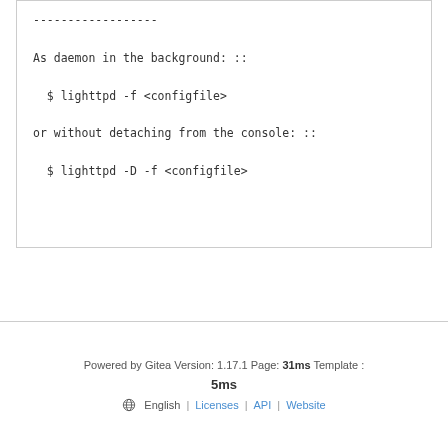------------------

As daemon in the background: ::

  $ lighttpd -f <configfile>

or without detaching from the console: ::

  $ lighttpd -D -f <configfile>
Powered by Gitea Version: 1.17.1 Page: 31ms Template : 5ms  English | Licenses | API | Website